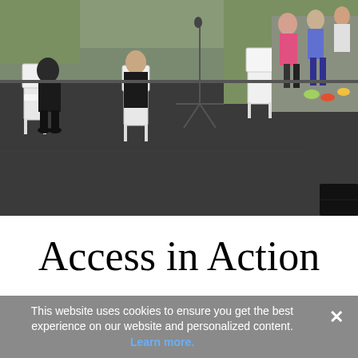[Figure (photo): Outdoor event photo showing people seated on white Chiavari chairs on a black stage/platform, with green grass in background and audience members visible on the right side.]
Access in Action
This website uses cookies to ensure you get the best experience on our website and personalized content.
Learn more.